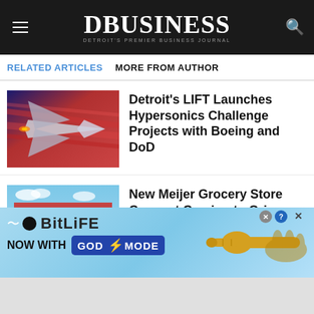DBUSINESS — Detroit's Premier Business Journal
RELATED ARTICLES   MORE FROM AUTHOR
Detroit's LIFT Launches Hypersonics Challenge Projects with Boeing and DoD
[Figure (photo): Hypersonic aircraft concept image with red/blue motion blur background]
New Meijer Grocery Store Concept Coming to Orion and Macomb Townships
[Figure (photo): Exterior rendering of a Meijer grocery store with parking lot]
Launch Entertainment Coming to Dearborn, Multiple Activities Under One
[Figure (photo): Colorful entertainment venue with people playing]
[Figure (infographic): BitLife NOW WITH GOD MODE advertisement banner]